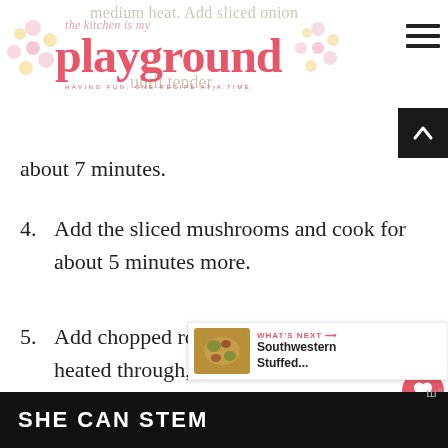the kitchen is my playground — HAVING FUN, ONE RECIPE AT A TIME
about 7 minutes.
4. Add the sliced mushrooms and cook for about 5 minutes more.
5. Add chopped roast beef and cook until heated through, about 1 minute. Season with salt and pepper, to taste.
6. Divide the meat filling mix evenly between the pepper
[Figure (screenshot): What's Next promotional widget showing Southwestern Stuffed... with food thumbnail]
SHE CAN STEM